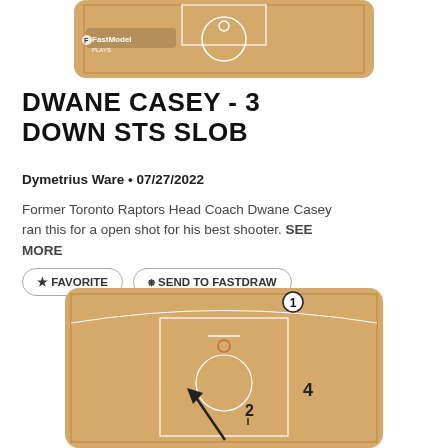[Figure (illustration): Basketball half-court diagram (top portion, FastModel logo visible) showing play setup]
DWANE CASEY - 3 DOWN STS SLOB
Dymetrius Ware • 07/27/2022
Former Toronto Raptors Head Coach Dwane Casey ran this for a open shot for his best shooter. SEE MORE
★ FAVORITE    ✉ SEND TO FASTDRAW
[Figure (illustration): Basketball half-court diagram showing play with player positions numbered 1, 2, 4 and movement arrows for 3 DOWN STS SLOB play]